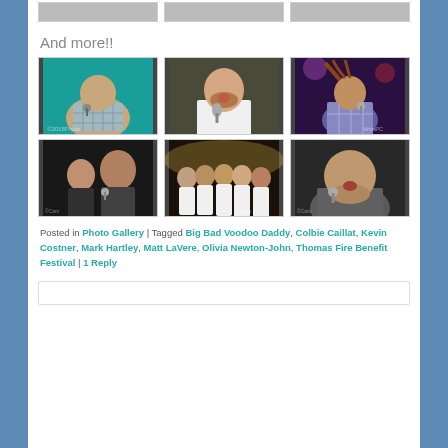[Figure (photo): Row of three partially visible thumbnail photos at top of page]
And more!!
[Figure (photo): Grid of 6 concert/performance photos. Top row: man with microphone in checkered shirt with teal background; man singing in white shirt; performer in plaid shirt under purple stage lights. Bottom row: two performers at dark venue; group of performers on stage; heavyset man singing with microphone.]
Posted in Photo Gallery | Tagged Big Bad Voodoo Daddy, Colbie Caillat, Kevin Costner, Mark Hartley, Matt LaVere, Olivia Newton-John, Thomas Fire Benefit Festival | 1 Reply
[Figure (other): Comment box at bottom of page]